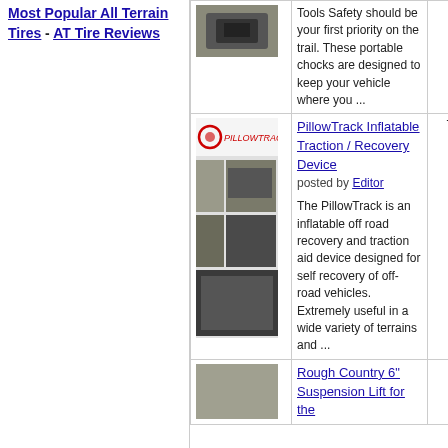Most Popular All Terrain Tires - AT Tire Reviews
[Figure (photo): Small product image top - wheel chocks]
Tools Safety should be your first priority on the trail. These portable chocks are designed to keep your vehicle where you ...
[Figure (photo): PillowTrack composite image with logo and vehicle photos]
PillowTrack Inflatable Traction / Recovery Device posted by Editor The PillowTrack is an inflatable off road recovery and traction aid device designed for self recovery of off-road vehicles. Extremely useful in a wide variety of terrains and ...
79661
Rough Country 6" Suspension Lift for the